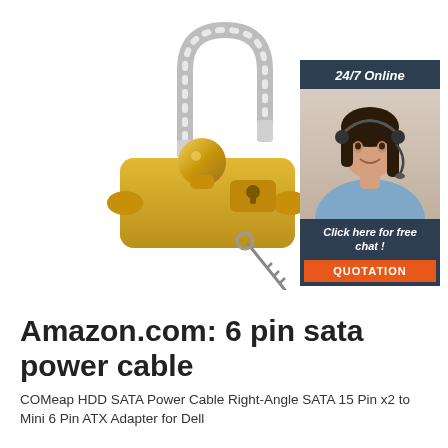[Figure (photo): Yellow trailer hitch ball coupler lock with a silver U-shaped shackle and key hanging below, shown on white background. Top-right corner has an advertisement banner showing a smiling woman with headset, labeled '24/7 Online' and 'Click here for free chat!' with an orange QUOTATION button.]
Amazon.com: 6 pin sata power cable
COMeap HDD SATA Power Cable Right-Angle SATA 15 Pin x2 to Mini 6 Pin ATX Adapter for Dell